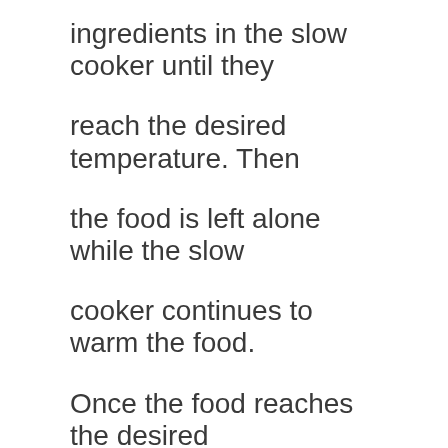ingredients in the slow cooker until they reach the desired temperature. Then the food is left alone while the slow cooker continues to warm the food. Once the food reaches the desired temperature, it is removed from the slow cooker and served immediately. Slow cookers are great for making